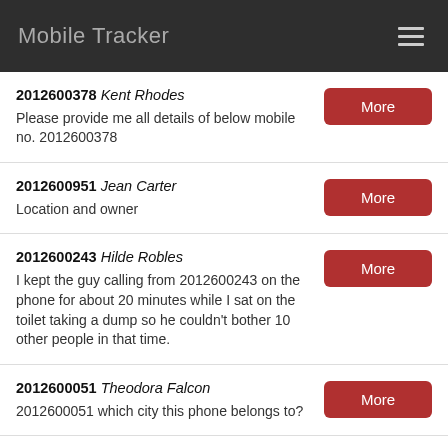Mobile Tracker
2012600378 Kent Rhodes
Please provide me all details of below mobile no. 2012600378
2012600951 Jean Carter
Location and owner
2012600243 Hilde Robles
I kept the guy calling from 2012600243 on the phone for about 20 minutes while I sat on the toilet taking a dump so he couldn't bother 10 other people in that time.
2012600051 Theodora Falcon
2012600051 which city this phone belongs to?